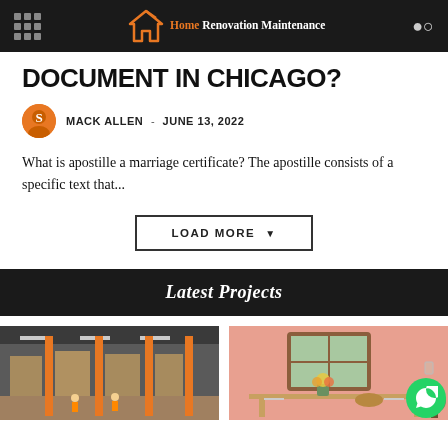Home Renovation Maintenance
DOCUMENT IN CHICAGO?
MACK ALLEN  -  JUNE 13, 2022
What is apostille a marriage certificate? The apostille consists of a specific text that...
LOAD MORE
Latest Projects
[Figure (photo): Interior of a large warehouse with orange columns and workers]
[Figure (photo): Dining room with pink walls, wood-framed window, flowers on table]